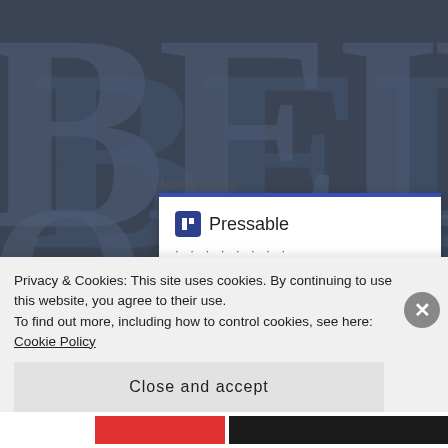[Figure (screenshot): Dark blue-grey background with large blurry letters forming partial text visible behind advertisement card]
Advertisements
[Figure (logo): Pressable logo with blue square icon and 'Pressable' text]
· · · · · · · ·
The Platform
Wh... Wor...
Privacy & Cookies: This site uses cookies. By continuing to use this website, you agree to their use.
To find out more, including how to control cookies, see here: Cookie Policy
Close and accept